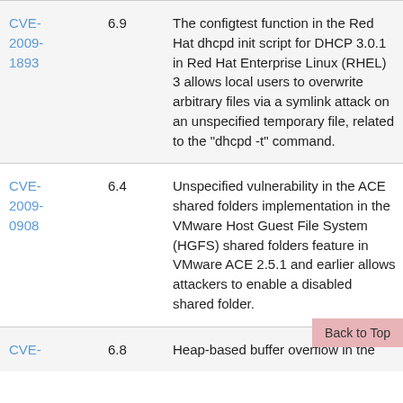| CVE | Score | Description | Date |
| --- | --- | --- | --- |
| CVE-2009-1893 | 6.9 | The configtest function in the Red Hat dhcpd init script for DHCP 3.0.1 in Red Hat Enterprise Linux (RHEL) 3 allows local users to overwrite arbitrary files via a symlink attack on an unspecified temporary file, related to the "dhcpd -t" command. | 29-09-2017 01:34 |
| CVE-2009-0908 | 6.4 | Unspecified vulnerability in the ACE shared folders implementation in the VMware Host Guest File System (HGFS) shared folders feature in VMware ACE 2.5.1 and earlier allows attackers to enable a disabled shared folder. | 29-09-2017 01:34 |
| CVE- | 6.8 | Heap-based buffer overflow in the | 29-09- |